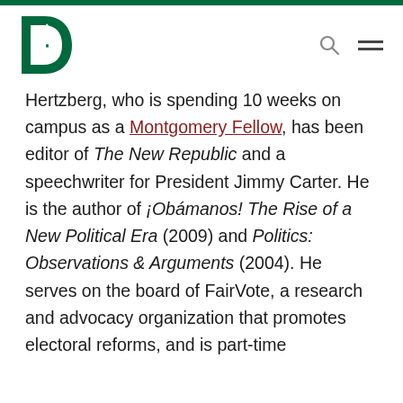Dartmouth College website header with logo, search icon, and menu icon
Hertzberg, who is spending 10 weeks on campus as a Montgomery Fellow, has been editor of The New Republic and a speechwriter for President Jimmy Carter. He is the author of ¡Obámanos! The Rise of a New Political Era (2009) and Politics: Observations & Arguments (2004). He serves on the board of FairVote, a research and advocacy organization that promotes electoral reforms, and is part-time